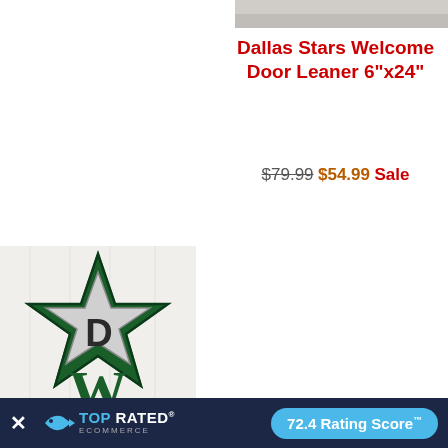[Figure (photo): Partial product photo top right (cropped Dallas Stars door leaner image)]
Dallas Stars Welcome Door Leaner 6"x24"
$79.99 $54.99 Sale
[Figure (photo): Dallas Stars Welcome Door Leaner product image showing the star logo with letter W and E on a whitewashed wood background]
[Figure (infographic): Top Rated Ecommerce badge banner with 72.4 Rating Score]